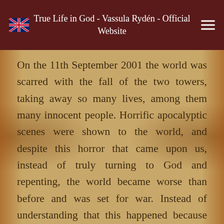True Life in God - Vassula Rydén - Official Website
On the 11th September 2001 the world was scarred with the fall of the two towers, taking away so many lives, among them many innocent people. Horrific apocalyptic scenes were shown to the world, and despite this horror that came upon us, instead of truly turning to God and repenting, the world became worse than before and was set for war. Instead of understanding that this happened because of our own faults, sins, guilt, apostasy and the world's rejection of God, we continued to listen to Satan and go on his way rather than the way God was showing us.